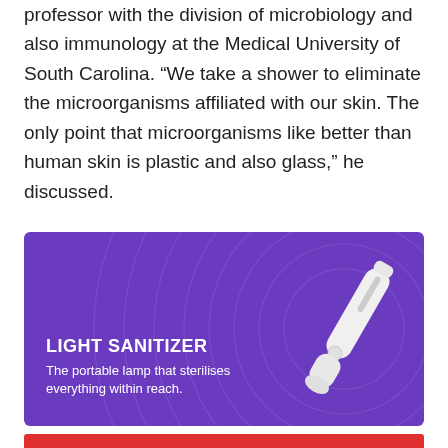professor with the division of microbiology and also immunology at the Medical University of South Carolina. “We take a shower to eliminate the microorganisms affiliated with our skin. The only point that microorganisms like better than human skin is plastic and also glass,” he discussed.
[Figure (infographic): Purple banner advertisement for a Light Sanitizer product. Shows a white portable UV lamp wand on the right side. Text on left reads 'LIGHT SANITIZER' in bold white uppercase, with subtitle 'The portable lamp that sterilises everything within reach.' Background has decorative swirl pattern.]